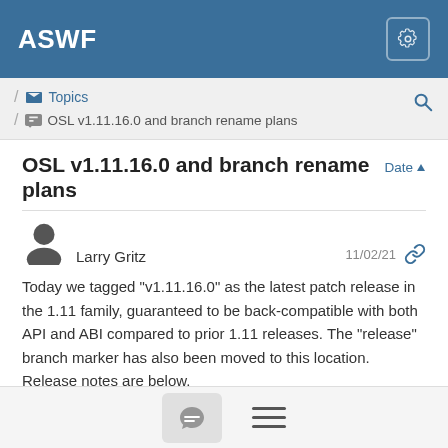ASWF
/ Topics
/ OSL v1.11.16.0 and branch rename plans
OSL v1.11.16.0 and branch rename plans
Larry Gritz  11/02/21
Today we tagged "v1.11.16.0" as the latest patch release in the 1.11 family, guaranteed to be back-compatible with both API and ABI compared to prior 1.11 releases. The "release" branch marker has also been moved to this location. Release notes are below.
The only additions this time are for compatibility with the new